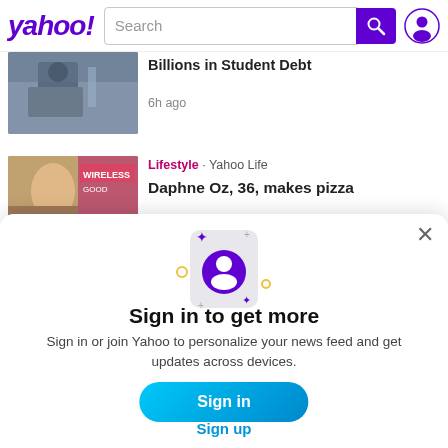[Figure (screenshot): Yahoo header with logo, search bar, search button, and avatar icon]
[Figure (photo): News card image: person at podium in suit]
Billions in Student Debt
6h ago
[Figure (photo): News card image: woman with blond hair in front of sign]
Lifestyle · Yahoo Life
Daphne Oz, 36, makes pizza
[Figure (illustration): Modal phone icon with user avatar and sparkle decorations]
Sign in to get more
Sign in or join Yahoo to personalize your news feed and get updates across devices.
Sign in
Sign up